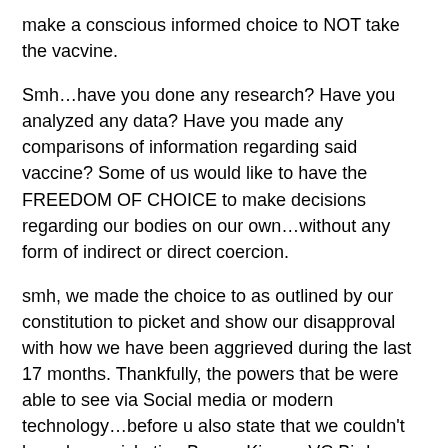make a conscious informed choice to NOT take the vacvine.
Smh…have you done any research? Have you analyzed any data? Have you made any comparisons of information regarding said vaccine? Some of us would like to have the FREEDOM OF CHOICE to make decisions regarding our bodies on our own…without any form of indirect or direct coercion.
smh, we made the choice to as outlined by our constitution to picket and show our disapproval with how we have been aggrieved during the last 17 months. Thankfully, the powers that be were able to see via Social media or modern technology…before u also state that we couldn't have been picketing Burger King or VC Bird